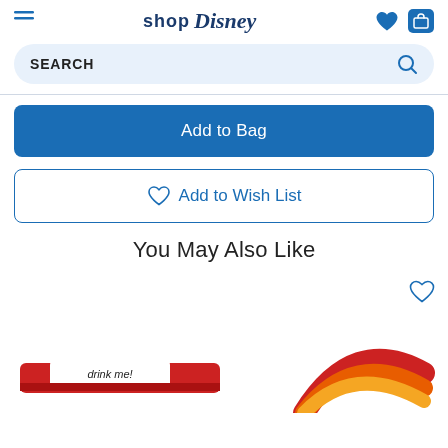Shop Disney
SEARCH
Add to Bag
Add to Wish List
You May Also Like
[Figure (photo): Bottom portion of product images in a 'You May Also Like' section. Left image shows a red and white patterned item with text 'drink me'. Right image shows a rainbow-striped item in red, orange, and yellow.]